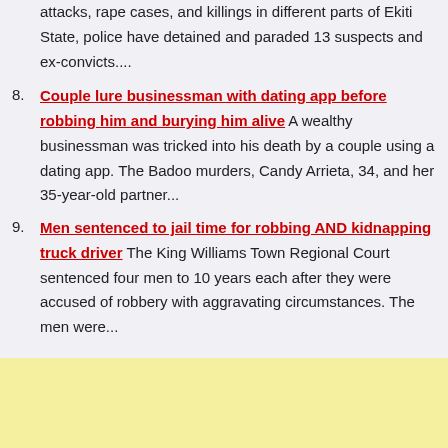attacks, rape cases, and killings in different parts of Ekiti State, police have detained and paraded 13 suspects and ex-convicts....
8. Couple lure businessman with dating app before robbing him and burying him alive A wealthy businessman was tricked into his death by a couple using a dating app. The Badoo murders, Candy Arrieta, 34, and her 35-year-old partner...
9. Men sentenced to jail time for robbing AND kidnapping truck driver The King Williams Town Regional Court sentenced four men to 10 years each after they were accused of robbery with aggravating circumstances. The men were...
[Figure (other): Yellow/cream colored advertisement banner at the bottom of the page]